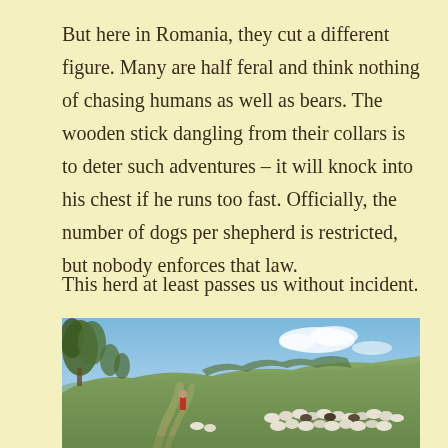But here in Romania, they cut a different figure. Many are half feral and think nothing of chasing humans as well as bears. The wooden stick dangling from their collars is to deter such adventures – it will knock into his chest if he runs too fast. Officially, the number of dogs per shepherd is restricted, but nobody enforces that law.
This herd at least passes us without incident.
[Figure (photo): A shepherd with a flock of sheep and goats on a grassy hillside with shrubs and trees, under a partly cloudy blue sky. A dirt path winds through the scene.]